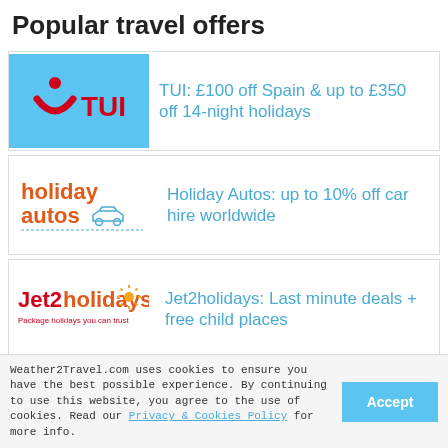Popular travel offers
[Figure (logo): TUI logo on blue background — red TUI symbol (smile/arc with dot) and TUI text]
TUI: £100 off Spain & up to £350 off 14-night holidays
[Figure (logo): Holiday Autos logo — orange text with car outline]
Holiday Autos: up to 10% off car hire worldwide
[Figure (logo): Jet2holidays logo — red/orange text with sun graphic and tagline 'Package holidays you can trust']
Jet2holidays: Last minute deals + free child places
Weather2Travel.com uses cookies to ensure you have the best possible experience. By continuing to use this website, you agree to the use of cookies. Read our Privacy & Cookies Policy for more info.